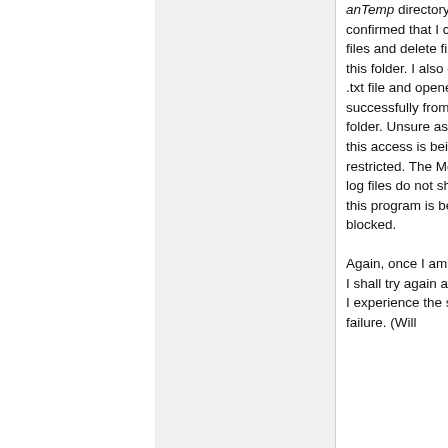anTemp directory. I confirmed that I can copy files and delete files from this folder. I also created a .txt file and opened it successfully from this folder. Unsure as to why this access is being restricted. The McAffee log files do not show that this program is being blocked.

Again, once I am at home I shall try again and see if I experience the same failure. (Will